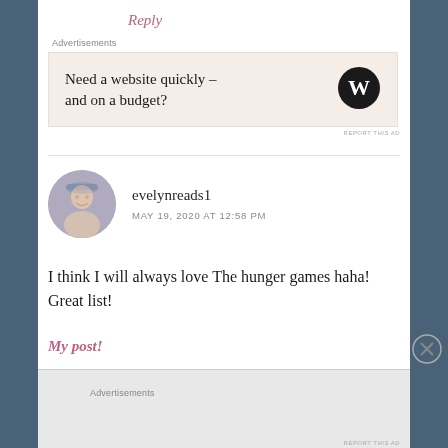Reply
Advertisements
[Figure (other): Advertisement banner with text 'Need a website quickly – and on a budget?' and WordPress logo]
REPORT THIS AD
[Figure (photo): Circular avatar photo of a young woman holding something on her head, smiling]
evelynreads1
MAY 19, 2020 AT 12:58 PM
I think I will always love The hunger games haha! Great list!
My post!
Advertisements
REPORT THIS AD